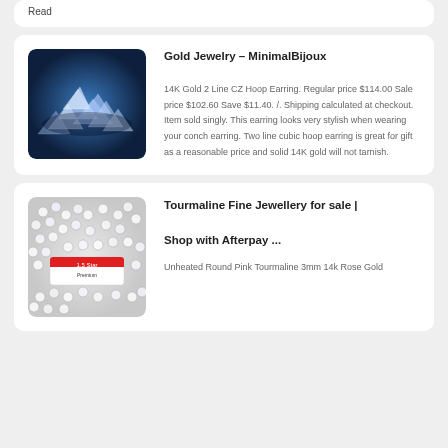Read
Gold Jewelry – MinimalBijoux
[Figure (photo): Pile of clear diamond/crystal gems on dark blue background]
14K Gold 2 Line CZ Hoop Earring. Regular price $114.00 Sale price $102.60 Save $11.40. /. Shipping calculated at checkout. Item sold singly. This earring looks very stylish when wearing your conch earring. Two line cubic hoop earring is great for gift as a reasonable price and solid 14K gold will not tarnish.
Tourmaline Fine Jewellery for sale | Shop with Afterpay ...
[Figure (photo): Close-up of small round tourmaline gemstone beads, light pink/clear, with a red and white label visible]
Unheated Round Pink Tourmaline 3mm 14k Rose Gold